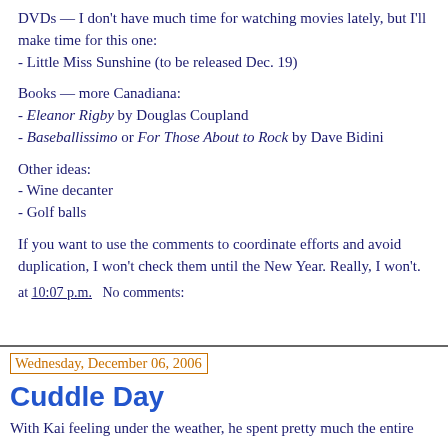DVDs — I don't have much time for watching movies lately, but I'll make time for this one:
- Little Miss Sunshine (to be released Dec. 19)
Books — more Canadiana:
- Eleanor Rigby by Douglas Coupland
- Baseballissimo or For Those About to Rock by Dave Bidini
Other ideas:
- Wine decanter
- Golf balls
If you want to use the comments to coordinate efforts and avoid duplication, I won't check them until the New Year. Really, I won't.
at 10:07 p.m.   No comments:
Wednesday, December 06, 2006
Cuddle Day
With Kai feeling under the weather, he spent pretty much the entire